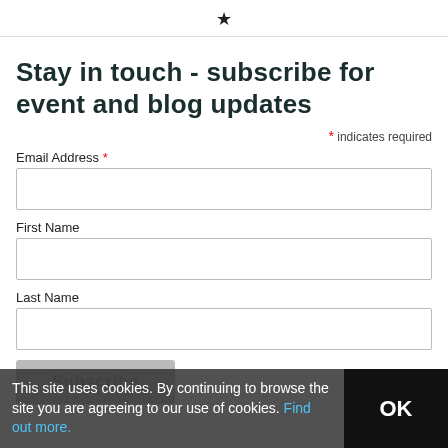★
Stay in touch - subscribe for event and blog updates
* indicates required
Email Address *
First Name
Last Name
Subscribe
This site uses cookies. By continuing to browse the site you are agreeing to our use of cookies. Find out more.
OK
🛒 Basket: 0